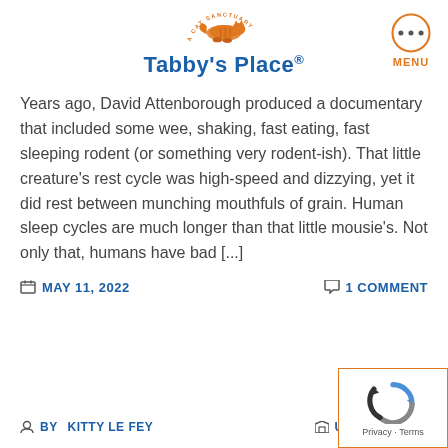[Figure (logo): Tabby's Place cat sanctuary logo with orange cat illustration above blue text 'Tabby's Place' and circular orange menu button in top right]
Years ago, David Attenborough produced a documentary that included some wee, shaking, fast eating, fast sleeping rodent (or something very rodent-ish). That little creature's rest cycle was high-speed and dizzying, yet it did rest between munching mouthfuls of grain. Human sleep cycles are much longer than that little mousie's. Not only that, humans have bad [...]
MAY 11, 2022   1 COMMENT
BY KITTY LE FEY   UNCATEGOR...